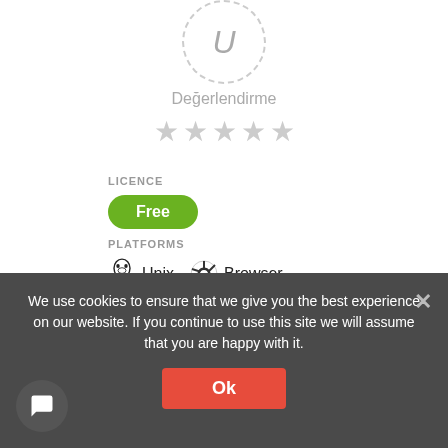[Figure (illustration): Avatar placeholder circle with dashed border showing letter U]
Değerlendirme
[Figure (illustration): Five empty gray stars rating row]
LICENCE
Free
PLATFORMS
Unix   Browser
SOCIAL LINKS
Home Page
Facebook
We use cookies to ensure that we give you the best experience on our website. If you continue to use this site we will assume that you are happy with it.
Ok